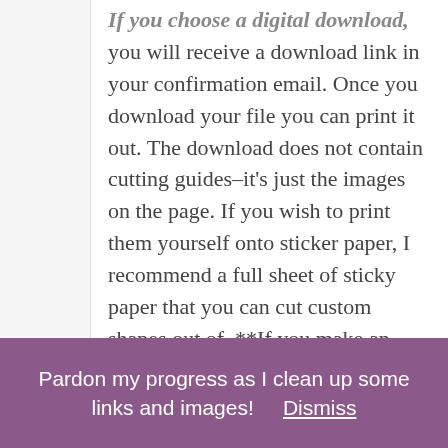If you choose a digital download, you will receive a download link in your confirmation email. Once you download your file you can print it out. The download does not contain cutting guides–it's just the images on the page. If you wish to print them yourself onto sticker paper, I recommend a full sheet of sticky paper that you can cut custom shapes out of. **If you make an account with My
Pardon my progress as I clean up some links and images!    Dismiss